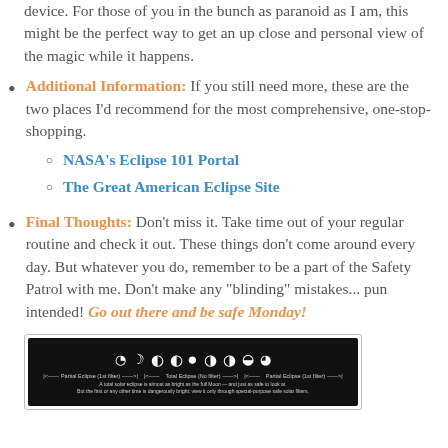device. For those of you in the bunch as paranoid as I am, this might be the perfect way to get an up close and personal view of the magic while it happens.
Additional Information:  If you still need more, these are the two places I'd recommend for the most comprehensive, one-stop-shopping.
NASA's Eclipse 101 Portal
The Great American Eclipse Site
Final Thoughts:  Don't miss it. Take time out of your regular routine and check it out. These things don't come around every day. But whatever you do, remember to be a part of the Safety Patrol with me. Don't make any "blinding" mistakes... pun intended! Go out there and be safe Monday!
[Figure (illustration): Diagram showing phases of a solar eclipse from partial to total and back to partial, with moon phase icons on a black background and labels for Partial Eclipse, Total Eclipse, and descriptive caption text.]